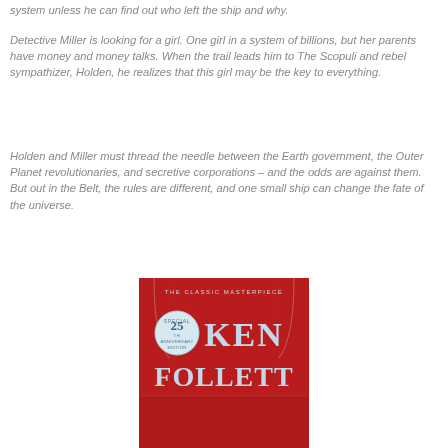system unless he can find out who left the ship and why.
Detective Miller is looking for a girl. One girl in a system of billions, but her parents have money and money talks. When the trail leads him to The Scopuli and rebel sympathizer, Holden, he realizes that this girl may be the key to everything.
Holden and Miller must thread the needle between the Earth government, the Outer Planet revolutionaries, and secretive corporations – and the odds are against them. But out in the Belt, the rules are different, and one small ship can change the fate of the universe.
[Figure (photo): Book cover of Ken Follett special 25th anniversary edition, red background with architectural line drawings and large silver text reading KEN FOLLETT, with badge reading SPECIAL ANNIVERSARY EDITION 25TH and text THE CLASSIC MASTERPIECE]